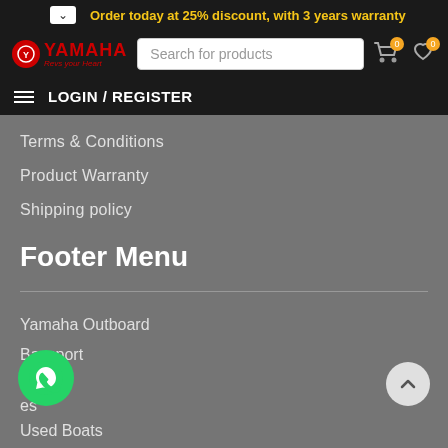Order today at 25% discount, with 3 years warranty
[Figure (screenshot): Yamaha logo with red circle and brand name]
Search for products
LOGIN / REGISTER
Terms & Conditions
Product Warranty
Shipping policy
Footer Menu
Yamaha Outboard
Baysport
Used Boats